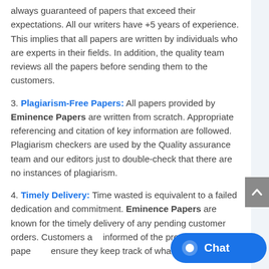always guaranteed of papers that exceed their expectations. All our writers have +5 years of experience. This implies that all papers are written by individuals who are experts in their fields. In addition, the quality team reviews all the papers before sending them to the customers.
3. Plagiarism-Free Papers: All papers provided by Eminence Papers are written from scratch. Appropriate referencing and citation of key information are followed. Plagiarism checkers are used by the Quality assurance team and our editors just to double-check that there are no instances of plagiarism.
4. Timely Delivery: Time wasted is equivalent to a failed dedication and commitment. Eminence Papers are known for the timely delivery of any pending customer orders. Customers are informed of the progress of their papers to ensure they keep track of what the writer is